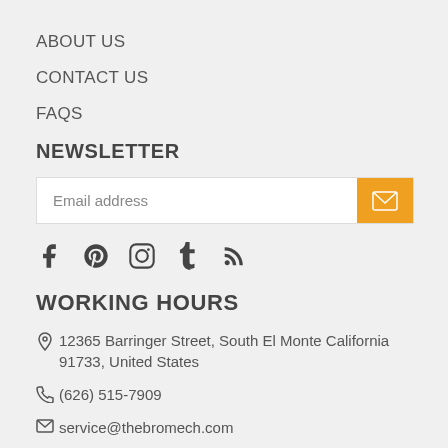ABOUT US
CONTACT US
FAQS
NEWSLETTER
Email address [newsletter signup form with submit button]
[Figure (infographic): Social media icons: Facebook, Pinterest, Instagram, Tumblr, RSS]
WORKING HOURS
12365 Barringer Street, South El Monte California 91733, United States
(626) 515-7909
service@thebromech.com